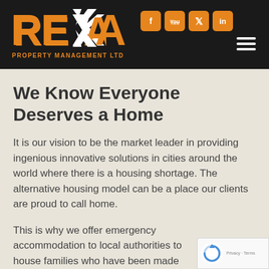[Figure (logo): RETA Property Management Ltd logo — orange and white RETA wordmark with arrow icon, on black background, with social media icons (Facebook, YouTube, Twitter, LinkedIn) in orange squares, and a hamburger menu icon]
We Know Everyone Deserves a Home
It is our vision to be the market leader in providing ingenious innovative solutions in cities around the world where there is a housing shortage. The alternative housing model can be a place our clients are proud to call home.
This is why we offer emergency accommodation to local authorities to house families who have been made homeless. And why we donate a portion o...